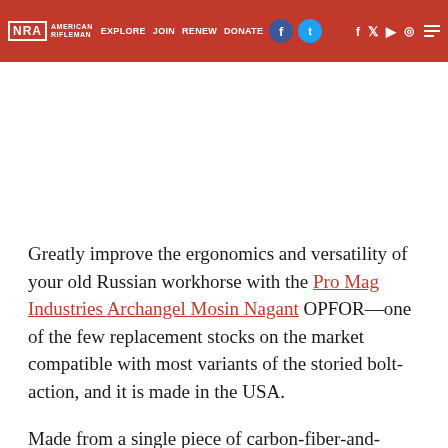NRA | EXPLORE AMERICAN RIFLEMAN | JOIN | RENEW | DONATE
[Figure (photo): Partial view of a rifle (Mosin Nagant with Archangel OPFOR stock) shown against a light background at the top right of the page]
Greatly improve the ergonomics and versatility of your old Russian workhorse with the Pro Mag Industries Archangel Mosin Nagant OPFOR—one of the few replacement stocks on the market compatible with most variants of the storied bolt-action, and it is made in the USA.
Made from a single piece of carbon-fiber-and-glass-reinforced polymer, the stock free-floats most Mosin-Nagant barrel contours with an inlet that includes steel pillars for centering and reinforcement of the